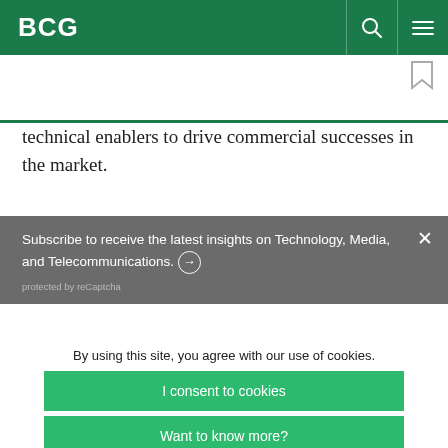BCG
technical enablers to drive commercial successes in the market.
Subscribe to receive the latest insights on Technology, Media, and Telecommunications. ➜
protected by reCaptcha
By using this site, you agree with our use of cookies.
I consent to cookies
Want to know more?
Read our Cookie Policy